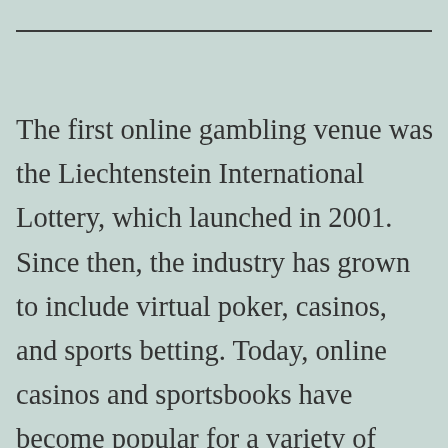The first online gambling venue was the Liechtenstein International Lottery, which launched in 2001. Since then, the industry has grown to include virtual poker, casinos, and sports betting. Today, online casinos and sportsbooks have become popular for a variety of reasons. If you are a fan of online casinos, you may want to try your luck at these sites. These sites have various advantages over their land-based counterparts. Read on for